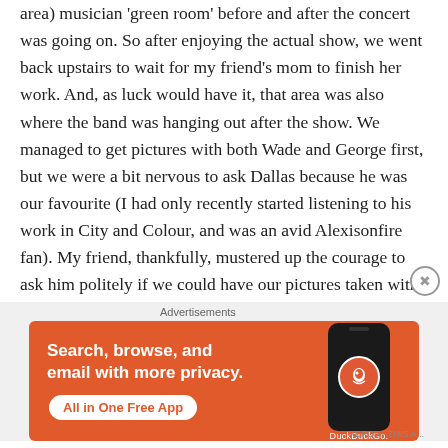area) musician 'green room' before and after the concert was going on. So after enjoying the actual show, we went back upstairs to wait for my friend's mom to finish her work. And, as luck would have it, that area was also where the band was hanging out after the show. We managed to get pictures with both Wade and George first, but we were a bit nervous to ask Dallas because he was our favourite (I had only recently started listening to his work in City and Colour, and was an avid Alexisonfire fan). My friend, thankfully, mustered up the courage to ask him politely if we could have our pictures taken with him. He was so sweet about it and agreed, but apologized, as he said that it would be a little while as he had a friend there who just came back home from South Korea
Advertisements
[Figure (infographic): DuckDuckGo advertisement banner with orange background. Text reads 'Search, browse, and email with more privacy. All in One Free App' with a DuckDuckGo logo and phone mockup on the right.]